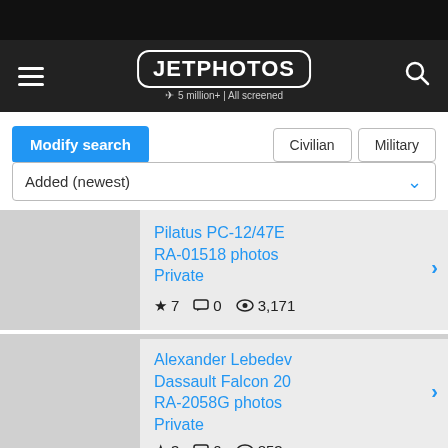JETPHOTOS — 5 million+ | All screened
Modify search | Civilian | Military
Added (newest)
Pilatus PC-12/47E RA-01518 photos Private — ★ 7  💬 0  👁 3,171
Alexander Lebedev Dassault Falcon 20 RA-2058G photos Private — ★ 3  💬 0  👁 853